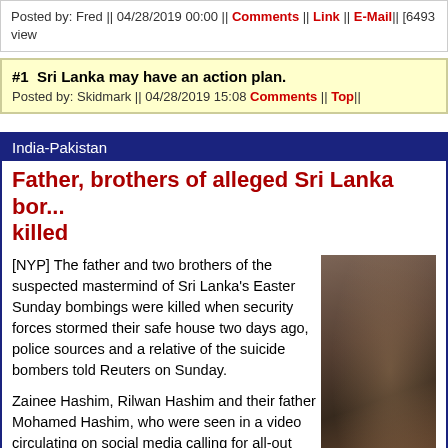Posted by: Fred || 04/28/2019 00:00 || Comments || Link || E-Mail|| [6493 view
#1  Sri Lanka may have an action plan.
Posted by: Skidmark || 04/28/2019 15:08 Comments || Top||
India-Pakistan
Father, brothers of alleged Sri Lanka bor... killed
[NYP] The father and two brothers of the suspected mastermind of Sri Lanka's Easter Sunday bombings were killed when security forces stormed their safe house two days ago, police sources and a relative of the suicide bombers told Reuters on Sunday.
Zainee Hashim, Rilwan Hashim and their father Mohamed Hashim, who were seen in a video circulating on social media calling for all-out war against nonbelievers, were among 15 killed in a fierce gun battle
[Figure (photo): Photo of persons in what appears to be a conflict/crime scene setting, partial view]